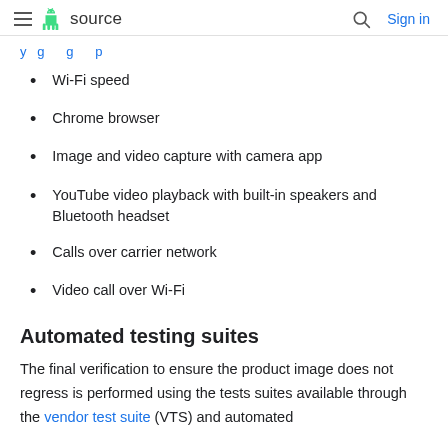≡ [Android] source  🔍  Sign in
…y…g…g…p…
Wi-Fi speed
Chrome browser
Image and video capture with camera app
YouTube video playback with built-in speakers and Bluetooth headset
Calls over carrier network
Video call over Wi-Fi
Automated testing suites
The final verification to ensure the product image does not regress is performed using the tests suites available through the vendor test suite (VTS) and automated